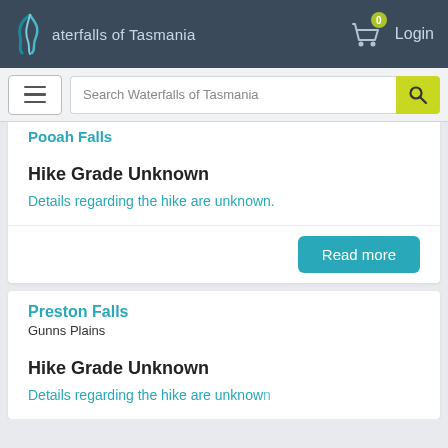Waterfalls of Tasmania
[Figure (screenshot): Navigation bar with Waterfalls of Tasmania logo, shopping cart with badge showing 0, and Login link]
[Figure (screenshot): Search bar row with hamburger menu button and Search Waterfalls of Tasmania search input with yellow search button]
Pooah Falls
Hike Grade Unknown
Details regarding the hike are unknown.
Read more
Preston Falls
Gunns Plains
Hike Grade Unknown
Details regarding the hike are unknown.